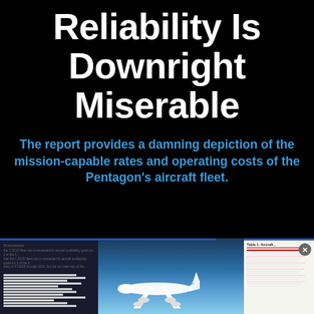Reliability Is Downright Miserable
The report provides a damning depiction of the mission-capable rates and operating costs of the Pentagon's aircraft fleet.
BY
JOSEPH TREVITHICK
NOV 19, 2020 8:44 PM
THE WAR ZONE
[Figure (screenshot): Bottom strip showing three thumbnail images: a document screenshot on left, a military aircraft (white plane) photo in center, and a document/table screenshot on right with a close button]